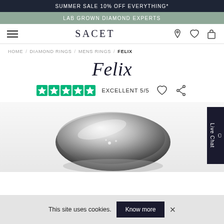SUMMER SALE 10% OFF EVERYTHING*
LAB GROWN DIAMOND EXPERTS
SACET
HOME / DIAMOND RINGS / MENS RINGS / FELIX
Felix
EXCELLENT 5/5
[Figure (photo): Close-up photo of a shiny platinum/silver men's diamond ring]
This site uses cookies. Know more ×